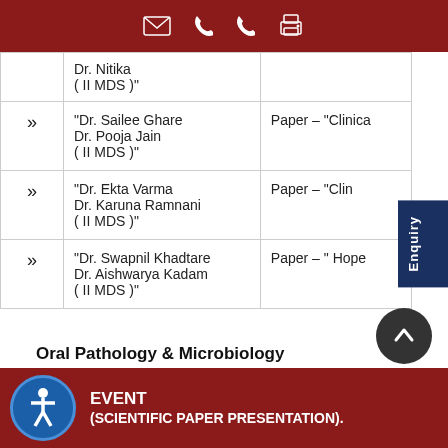Contact icons bar
|  | Names | Paper |
| --- | --- | --- |
|  | Dr. Nitika
( II MDS )" |  |
| » | "Dr. Sailee Ghare
Dr. Pooja Jain
( II MDS )" | Paper – "Clinica |
| » | "Dr. Ekta Varma
Dr. Karuna Ramnani
( II MDS )" | Paper – "Clin |
| » | "Dr. Swapnil Khadtare
Dr. Aishwarya Kadam
( II MDS )" | Paper – " Hope |
Oral Pathology & Microbiology
EVENT (SCIENTIFIC PAPER PRESENTATION).